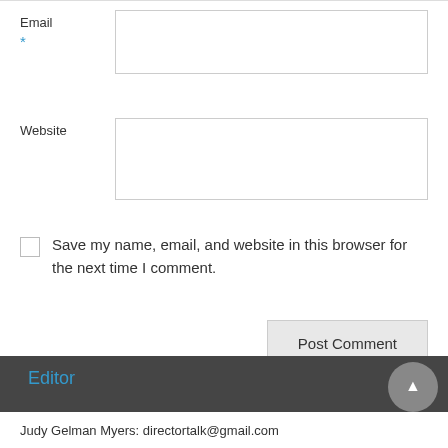Email *
Website
Save my name, email, and website in this browser for the next time I comment.
Post Comment
Editor
Judy Gelman Myers: directortalk@gmail.com